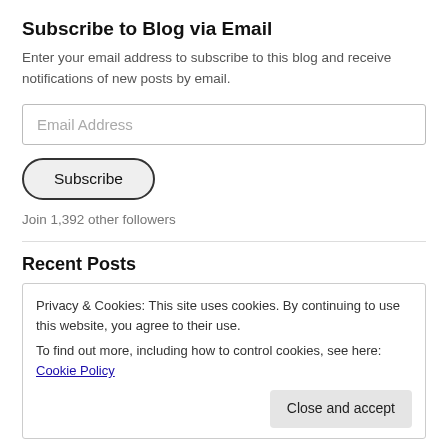Subscribe to Blog via Email
Enter your email address to subscribe to this blog and receive notifications of new posts by email.
Email Address
Subscribe
Join 1,392 other followers
Recent Posts
Privacy & Cookies: This site uses cookies. By continuing to use this website, you agree to their use.
To find out more, including how to control cookies, see here: Cookie Policy
Close and accept
How to use your existing ODI on premise to seamlessly integrate PBCS